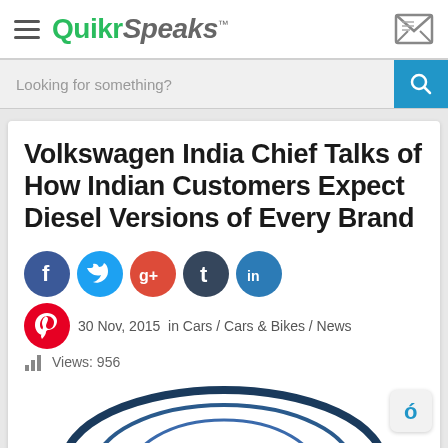QuikrSpeaks
Looking for something?
Volkswagen India Chief Talks of How Indian Customers Expect Diesel Versions of Every Brand
30 Nov, 2015  in Cars / Cars & Bikes / News
Views: 956
[Figure (photo): Partial view of a car (Volkswagen) at bottom of card]